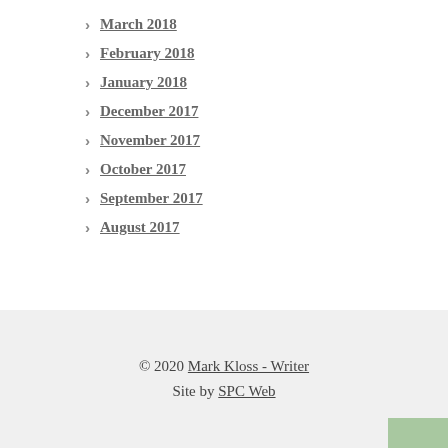March 2018
February 2018
January 2018
December 2017
November 2017
October 2017
September 2017
August 2017
© 2020 Mark Kloss - Writer
Site by SPC Web